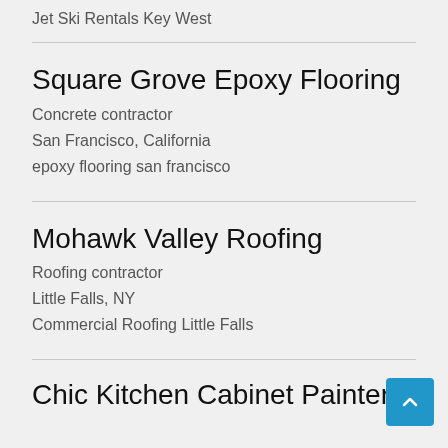Jet Ski Rentals Key West
Square Grove Epoxy Flooring
Concrete contractor
San Francisco, California
epoxy flooring san francisco
Mohawk Valley Roofing
Roofing contractor
Little Falls, NY
Commercial Roofing Little Falls
Chic Kitchen Cabinet Painters